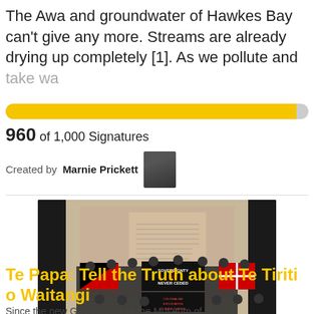The Awa and groundwater of Hawkes Bay can't give any more. Streams are already drying up completely [1]. As we pollute and take wa
[Figure (infographic): Progress bar showing 960 of 1,000 signatures filled in yellow/gold color, approximately 96% full]
960 of 1,000 Signatures
Created by Marnie Prickett
[Figure (photo): Indoor museum photo of a group of people holding banners including one reading 'SOVEREIGNTY WAS NEVER CEDED' and Maori flags, standing in front of a large text display on a wall at Te Papa museum]
Te Papa: Tell the Truth about Te Tiriti o Waitangi
Since the new Governance of the Museum of N...